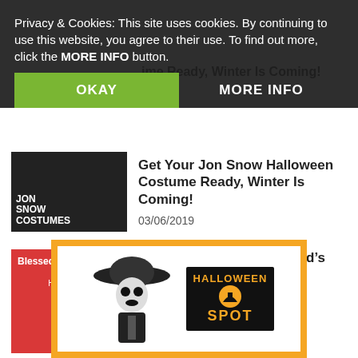Privacy & Cookies: This site uses cookies. By continuing to use this website, you agree to their use. To find out more, click the MORE INFO button.
OKAY
MORE INFO
[Figure (screenshot): Thumbnail image for Jon Snow Costumes article, dark background with text label 'JON SNOW COSTUMES']
Get Your Jon Snow Halloween Costume Ready, Winter Is Coming!
03/06/2019
[Figure (screenshot): Thumbnail image for Handmaid's Tale Costume article, red background with text 'Blessed Be Your Handmaid's Tale Costume' and woman in red costume]
Blessed Be Your Handmaid’s Tale Costume
02/22/2019
[Figure (illustration): Promotional banner with orange border showing a Day of the Dead costumed figure and Halloween Spot logo on dark background]